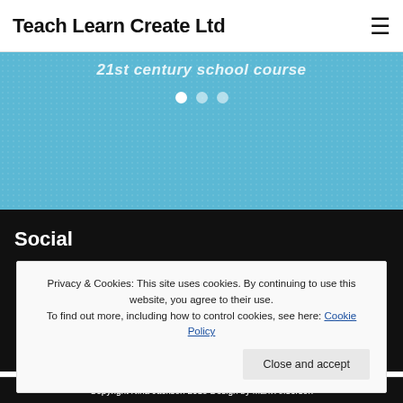Teach Learn Create Ltd
[Figure (screenshot): Blue banner section with italic text '21st century school course' and three navigation dots (white, gray, gray)]
Social
Privacy & Cookies: This site uses cookies. By continuing to use this website, you agree to their use.
To find out more, including how to control cookies, see here: Cookie Policy
Close and accept
Copyright Nina Jackson 2018 Design by Mark Anderson